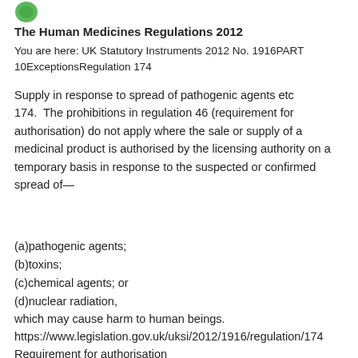[Figure (logo): Green circular logo icon in top left]
The Human Medicines Regulations 2012
You are here: UK Statutory Instruments 2012 No. 1916 PART 10 Exceptions Regulation 174
Supply in response to spread of pathogenic agents etc
174.  The prohibitions in regulation 46 (requirement for authorisation) do not apply where the sale or supply of a medicinal product is authorised by the licensing authority on a temporary basis in response to the suspected or confirmed spread of—
(a) pathogenic agents;
(b) toxins;
(c) chemical agents; or
(d) nuclear radiation,
which may cause harm to human beings.
https://www.legislation.gov.uk/uksi/2012/1916/regulation/174
Requirement for authorisation
46.—(1) A person may not sell or supply, or offer to sell or supply, an unauthorised medicinal product.
(2) A person may not sell or supply, or offer to sell or supply,